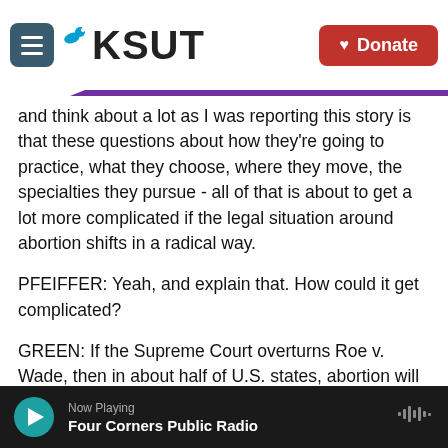KSUT — Donate
and think about a lot as I was reporting this story is that these questions about how they're going to practice, what they choose, where they move, the specialties they pursue - all of that is about to get a lot more complicated if the legal situation around abortion shifts in a radical way.
PFEIFFER: Yeah, and explain that. How could it get complicated?
GREEN: If the Supreme Court overturns Roe v. Wade, then in about half of U.S. states, abortion will likely become all but illegal. And what this means is that the training institutions are not going to be
Now Playing — Four Corners Public Radio